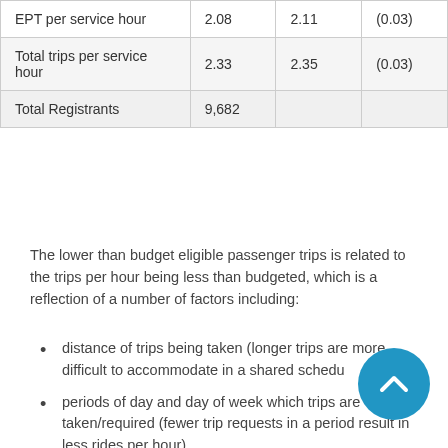| EPT per service hour | 2.08 | 2.11 | (0.03) |
| Total trips per service hour | 2.33 | 2.35 | (0.03) |
| Total Registrants | 9,682 |  |  |
The lower than budget eligible passenger trips is related to the trips per hour being less than budgeted, which is a reflection of a number of factors including:
distance of trips being taken (longer trips are more difficult to accommodate in a shared schedu...
periods of day and day of week which trips are taken/required (fewer trip requests in a period result in less rides per hour)
schedule efficiency overall